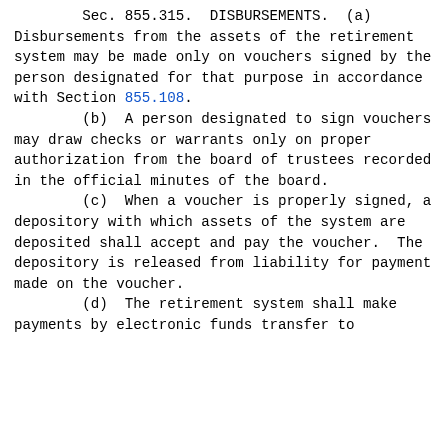Sec. 855.315.  DISBURSEMENTS.  (a) Disbursements from the assets of the retirement system may be made only on vouchers signed by the person designated for that purpose in accordance with Section 855.108.
        (b)  A person designated to sign vouchers may draw checks or warrants only on proper authorization from the board of trustees recorded in the official minutes of the board.
        (c)  When a voucher is properly signed, a depository with which assets of the system are deposited shall accept and pay the voucher.  The depository is released from liability for payment made on the voucher.
        (d)  The retirement system shall make payments by electronic funds transfer to